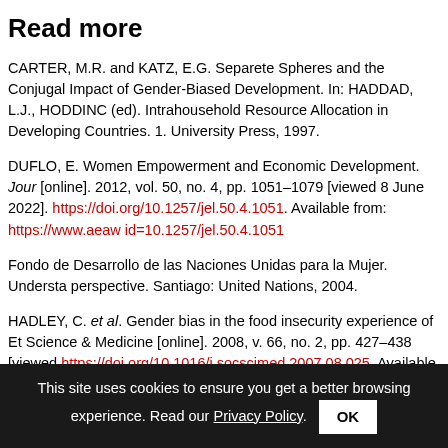Read more
CARTER, M.R. and KATZ, E.G. Separete Spheres and the Conjugal Impact of Gender-Biased Development. In: HADDAD, L.J., HODDINC (ed). Intrahousehold Resource Allocation in Developing Countries. 1. University Press, 1997.
DUFLO, E. Women Empowerment and Economic Development. Jour [online]. 2012, vol. 50, no. 4, pp. 1051–1079 [viewed 8 June 2022]. https://doi.org/10.1257/jel.50.4.1051. Available from: https://www.aeaw id=10.1257/jel.50.4.1051
Fondo de Desarrollo de las Naciones Unidas para la Mujer. Understa perspective. Santiago: United Nations, 2004.
HADLEY, C. et al. Gender bias in the food insecurity experience of Et Science & Medicine [online]. 2008, v. 66, no. 2, pp. 427–438 [viewed https://doi.org/10.1016/j.socscimed.2007.08.025. Available from:
This site uses cookies to ensure you get a better browsing experience. Read our Privacy Policy.